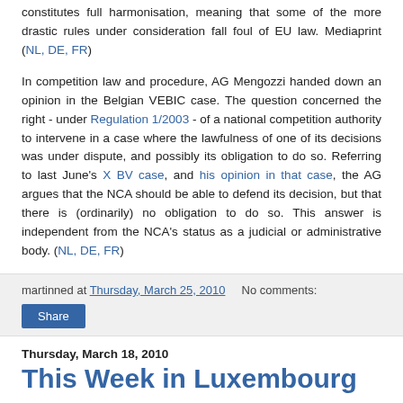constitutes full harmonisation, meaning that some of the more drastic rules under consideration fall foul of EU law. Mediaprint (NL, DE, FR)
In competition law and procedure, AG Mengozzi handed down an opinion in the Belgian VEBIC case. The question concerned the right - under Regulation 1/2003 - of a national competition authority to intervene in a case where the lawfulness of one of its decisions was under dispute, and possibly its obligation to do so. Referring to last June's X BV case, and his opinion in that case, the AG argues that the NCA should be able to defend its decision, but that there is (ordinarily) no obligation to do so. This answer is independent from the NCA's status as a judicial or administrative body. (NL, DE, FR)
martinned at Thursday, March 25, 2010    No comments:
Share
Thursday, March 18, 2010
This Week in Luxembourg
The new transfer system in football survived an attack by Olympique Lyonnais before the Grand Chamber this week. The French system, however, was not so lucky. Olympique Lyonnais v. Olivier Bernard (See